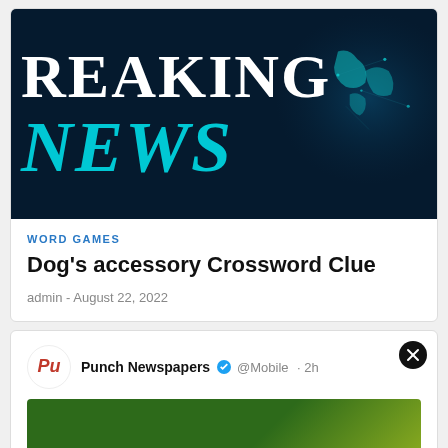[Figure (illustration): Breaking News banner image with dark navy background, globe graphic, large white text 'REAKING' and large cyan/teal italic text 'NEWS']
WORD GAMES
Dog's accessory Crossword Clue
admin - August 22, 2022
[Figure (screenshot): Partial tweet card from Punch Newspapers @Mobile · 2h with a close (X) button in top right, Punch logo on left, and a partial green image at bottom]
Punch Newspapers @Mobile · 2h